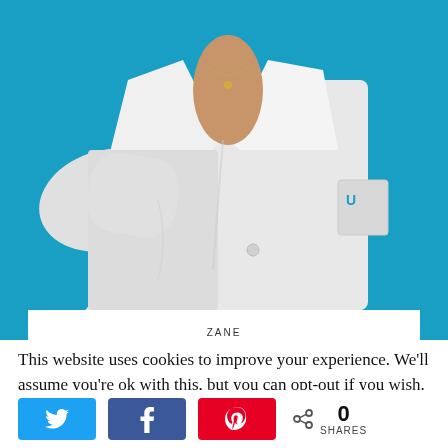[Figure (photo): A medical professional wearing a white lab coat against a blue background, photographed from the shoulders down to the waist, showing the coat lapels, a necklace, and a pocket with a logo.]
ZANE
This website uses cookies to improve your experience. We'll assume you're ok with this, but you can opt-out if you wish.
[Figure (infographic): Social sharing buttons row: Twitter (blue), Facebook (blue), Pinterest (red), and a share count showing 0 SHARES with a share icon.]